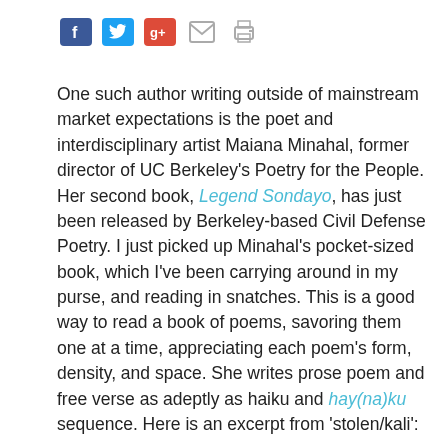[Figure (infographic): Social media sharing icons: Facebook (blue), Twitter (blue bird), Google+ (red), email (envelope), print (printer)]
One such author writing outside of mainstream market expectations is the poet and interdisciplinary artist Maiana Minahal, former director of UC Berkeley's Poetry for the People. Her second book, Legend Sondayo, has just been released by Berkeley-based Civil Defense Poetry. I just picked up Minahal's pocket-sized book, which I've been carrying around in my purse, and reading in snatches. This is a good way to read a book of poems, savoring them one at a time, appreciating each poem's form, density, and space. She writes prose poem and free verse as adeptly as haiku and hay(na)ku sequence. Here is an excerpt from 'stolen/kali':